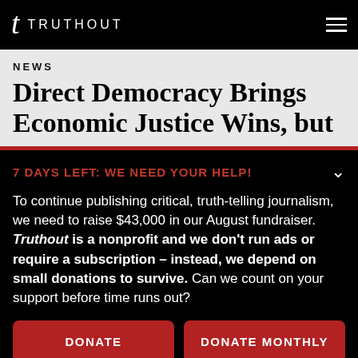TRUTHOUT
NEWS
Direct Democracy Brings Economic Justice Wins, but
7 DAYS LEFT: WE NEED YOUR HELP!
To continue publishing critical, truth-telling journalism, we need to raise $43,000 in our August fundraiser. Truthout is a nonprofit and we don't run ads or require a subscription – instead, we depend on small donations to survive. Can we count on your support before time runs out?
DONATE
DONATE MONTHLY